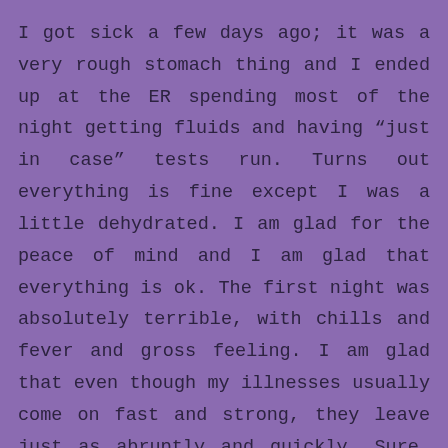I got sick a few days ago; it was a very rough stomach thing and I ended up at the ER spending most of the night getting fluids and having “just in case” tests run. Turns out everything is fine except I was a little dehydrated. I am glad for the peace of mind and I am glad that everything is ok. The first night was absolutely terrible, with chills and fever and gross feeling. I am glad that even though my illnesses usually come on fast and strong, they leave just as abruptly and quickly. Sure, I’m not 100% yet but I am functional and that is good enough for me since I can’t really medicate properly.